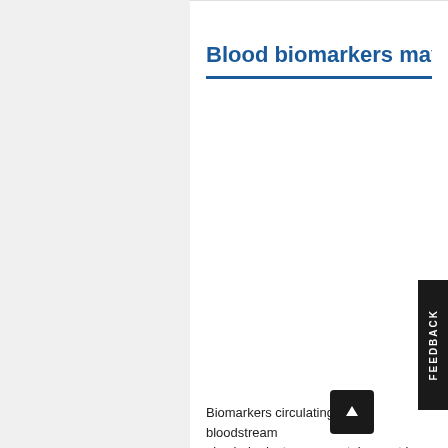Blood biomarkers may he
Biomarkers circulating in the bloodstream also help doctors accurately assess that i injury (TBI).